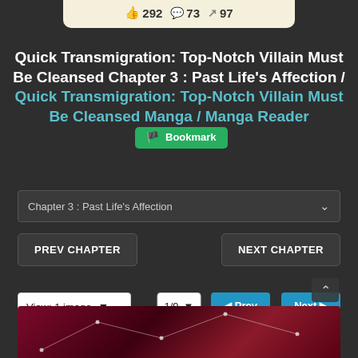[Figure (screenshot): Social stats bar showing thumbs up 292, comment 73, share 97]
Quick Transmigration: Top-Notch Villain Must Be Cleansed Chapter 3 : Past Life's Affection / Quick Transmigration: Top-Notch Villain Must Be Cleansed Manga / Manga Reader [Bookmark]
Chapter 3 : Past Life's Affection
PREV CHAPTER
NEXT CHAPTER
View: 1 image
1/9
Prev
Next
[Figure (illustration): Partial manga page showing dark red/maroon background with constellation-like line art]